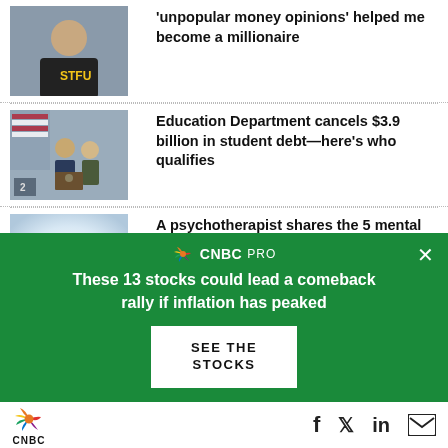[Figure (photo): Man talking on phone, selfie style]
'unpopular money opinions' helped me become a millionaire
[Figure (photo): Education department officials at podium with American flags]
Education Department cancels $3.9 billion in student debt—here's who qualifies
[Figure (photo): Bright light / abstract background]
A psychotherapist shares the 5 mental strengths you need to be successful at
[Figure (infographic): CNBC Pro advertisement banner: These 13 stocks could lead a comeback rally if inflation has peaked]
CNBC — Facebook, Twitter, LinkedIn, Email social icons